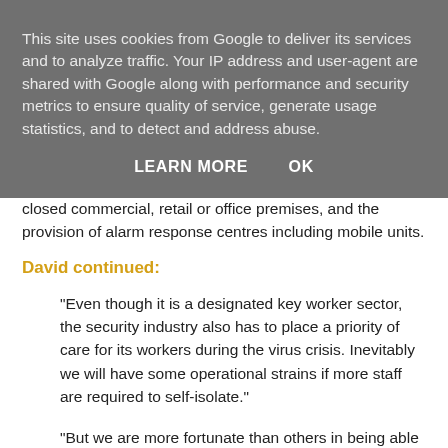This site uses cookies from Google to deliver its services and to analyze traffic. Your IP address and user-agent are shared with Google along with performance and security metrics to ensure quality of service, generate usage statistics, and to detect and address abuse.
LEARN MORE    OK
closed commercial, retail or office premises, and the provision of alarm response centres including mobile units.
David continued:
"Even though it is a designated key worker sector, the security industry also has to place a priority of care for its workers during the virus crisis. Inevitably we will have some operational strains if more staff are required to self-isolate."
"But we are more fortunate than others in being able to deploy both guards and/or CCTV security systems, because the latter is a safe, socially distant means to monitor premises via a remote